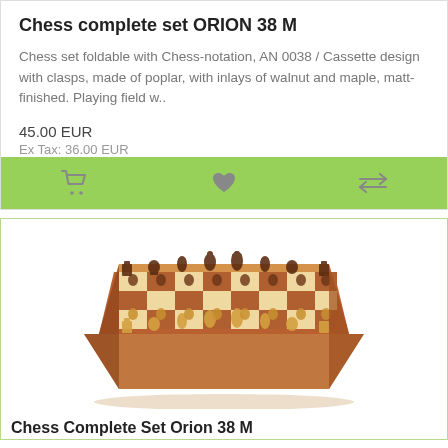Chess complete set ORION 38 M
Chess set foldable with Chess-notation, AN 0038 / Cassette design with clasps, made of poplar, with inlays of walnut and maple, matt-finished. Playing field w..
45.00 EUR
Ex Tax: 36.00 EUR
[Figure (infographic): Green action bar with cart icon, heart icon, and compare/arrows icon]
[Figure (photo): Photo of a wooden chess complete set ORION 38 M, showing a foldable chess board with chess pieces set up, made of walnut and maple wood.]
Chess Complete Set Orion 38 M